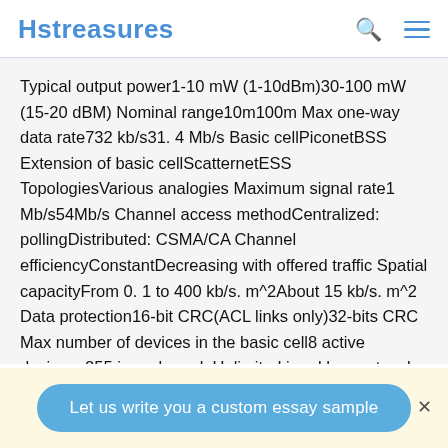Hstreasures
Typical output power1-10 mW (1-10dBm)30-100 mW (15-20 dBM) Nominal range10m100m Max one-way data rate732 kb/s31.4 Mb/s Basic cellPiconetBSS Extension of basic cellScatternetESS TopologiesVarious analogies Maximum signal rate1 Mb/s54Mb/s Channel access methodCentralized: pollingDistributed: CSMA/CA Channel efficiencyConstantDecreasing with offered traffic Spatial capacityFrom 0.1 to 400 kb/s. m^2About 15 kb/s. m^2 Data protection16-bit CRC(ACL links only)32-bits CRC Max number of devices in the basic cell8 active devices; 255 in park modeUnlimited in ad hoc networks (IBSS); up to 2007devices in infrastructure networks
Let us write you a custom essay sample